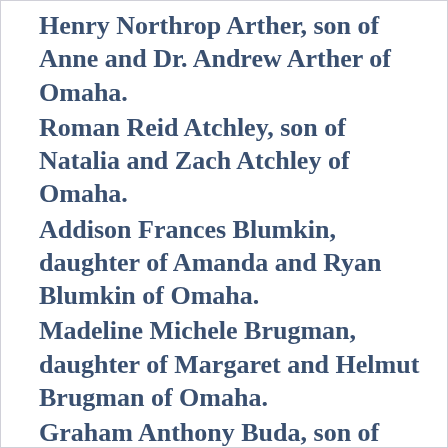Henry Northrop Arther, son of Anne and Dr. Andrew Arther of Omaha.
Roman Reid Atchley, son of Natalia and Zach Atchley of Omaha.
Addison Frances Blumkin, daughter of Amanda and Ryan Blumkin of Omaha.
Madeline Michele Brugman, daughter of Margaret and Helmut Brugman of Omaha.
Graham Anthony Buda, son of Jennifer and Tony Buda of [continues]